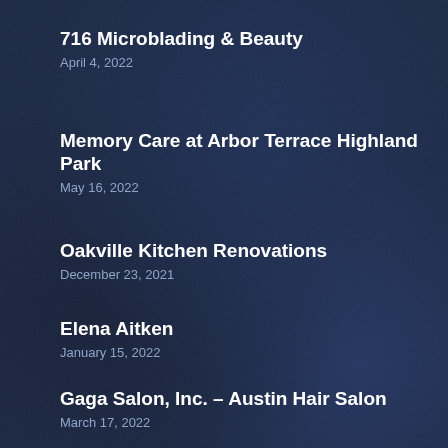716 Microblading & Beauty
April 4, 2022
Memory Care at Arbor Terrace Highland Park
May 16, 2022
Oakville Kitchen Renovations
December 23, 2021
Elena Aitken
January 15, 2022
Gaga Salon, Inc. – Austin Hair Salon
March 17, 2022